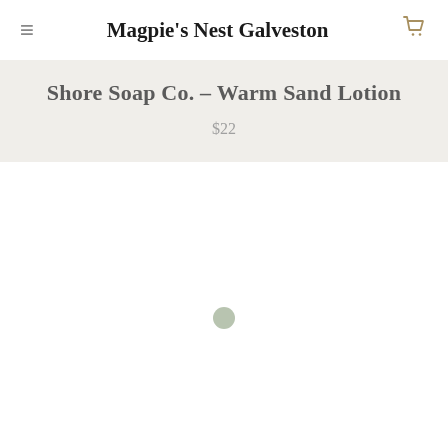Magpie's Nest Galveston
Shore Soap Co. - Warm Sand Lotion
$22
[Figure (other): Loading spinner or placeholder for product image area — a small sage/olive green circle centered in a white content area, indicating the product photo has not yet loaded.]